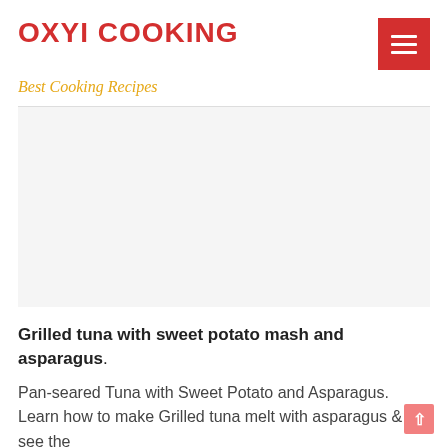OXYI COOKING
Best Cooking Recipes
[Figure (photo): Large image area showing a recipe photo (appears blank/white in render)]
Grilled tuna with sweet potato mash and asparagus.
Pan-seared Tuna with Sweet Potato and Asparagus. Learn how to make Grilled tuna melt with asparagus & see the